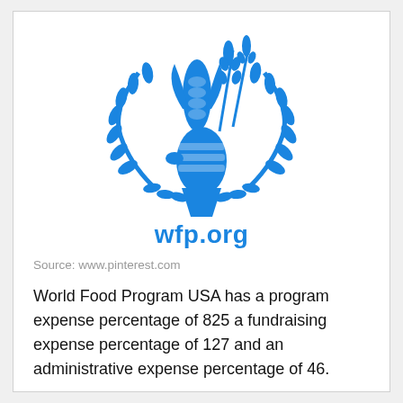[Figure (logo): WFP (World Food Programme) logo in blue: a hand holding grain/corn/wheat stalks encircled by olive branches, styled in blue]
wfp.org
Source: www.pinterest.com
World Food Program USA has a program expense percentage of 825 a fundraising expense percentage of 127 and an administrative expense percentage of 46.